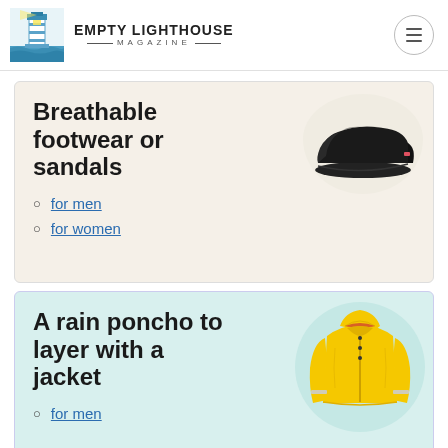Empty Lighthouse Magazine
Breathable footwear or sandals
for men
for women
[Figure (photo): Black slip-on shoe/sneaker]
A rain poncho to layer with a jacket
for men
[Figure (photo): Yellow rain jacket/poncho]